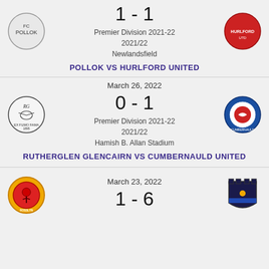1 - 1
Premier Division 2021-22
2021/22
Newlandsfield
POLLOK VS HURLFORD UNITED
March 26, 2022
0 - 1
Premier Division 2021-22
2021/22
Hamish B. Allan Stadium
RUTHERGLEN GLENCAIRN VS CUMBERNAULD UNITED
March 23, 2022
1 - 6